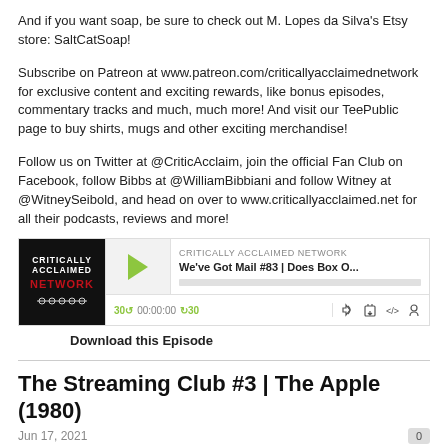And if you want soap, be sure to check out M. Lopes da Silva's Etsy store: SaltCatSoap!
Subscribe on Patreon at www.patreon.com/criticallyacclaimednetwork for exclusive content and exciting rewards, like bonus episodes, commentary tracks and much, much more! And visit our TeePublic page to buy shirts, mugs and other exciting merchandise!
Follow us on Twitter at @CriticAcclaim, join the official Fan Club on Facebook, follow Bibbs at @WilliamBibbiani and follow Witney at @WitneySeibold, and head on over to www.criticallyacclaimed.net for all their podcasts, reviews and more!
[Figure (screenshot): Podcast player widget for Critically Acclaimed Network showing episode 'We've Got Mail #83 | Does Box O...' with play button, progress bar, time display 00:00:00, skip controls, and media icons.]
Download this Episode
The Streaming Club #3 | The Apple (1980)
Jun 17, 2021
Welcome to THE CRITICALLY ACCLAIMED STREAMING CLUB, where